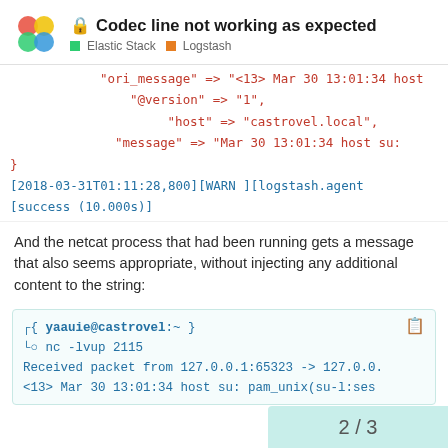Codec line not working as expected — Elastic Stack | Logstash
"ori_message" => "<13> Mar 30 13:01:34 host
        "@version" => "1",
             "host" => "castrovel.local",
         "message" => "Mar 30 13:01:34 host su:
}
[2018-03-31T01:11:28,800][WARN ][logstash.agent
[success (10.000s)]
And the netcat process that had been running gets a message that also seems appropriate, without injecting any additional content to the string:
[Figure (screenshot): Terminal block showing: ┌{ yaauie@castrovel:~ } with copy icon, └○ nc -lvup 2115, Received packet from 127.0.0.1:65323 -> 127.0.0..., <13> Mar 30 13:01:34 host su: pam_unix(su-l:ses...]
2 / 3